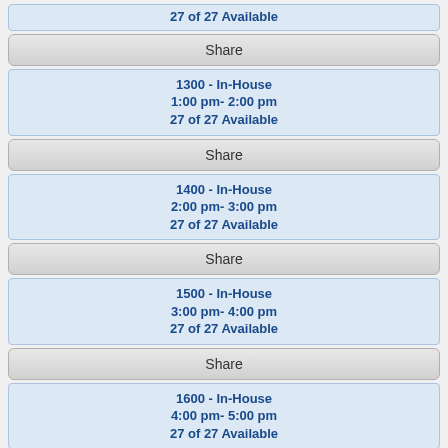27 of 27 Available
Share
1300 - In-House
1:00 pm- 2:00 pm
27 of 27 Available
Share
1400 - In-House
2:00 pm- 3:00 pm
27 of 27 Available
Share
1500 - In-House
3:00 pm- 4:00 pm
27 of 27 Available
Share
1600 - In-House
4:00 pm- 5:00 pm
27 of 27 Available
Share
Tuesday 08/16/2022